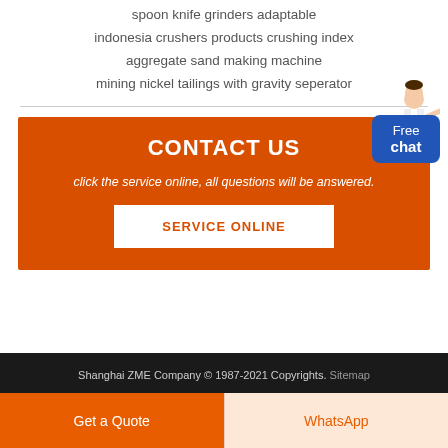spoon knife grinders adaptable
indonesia crushers products crushing index
aggregate sand making machine
mining nickel tailings with gravity seperator
[Figure (other): Contact us section with orange background, title CONTACT US, description text, SERVICE ONLINE button, and Free chat badge with person illustration]
Shanghai ZME Company © 1987-2021 Copyrights. Sitemap
Get a Quote
WhatsApp